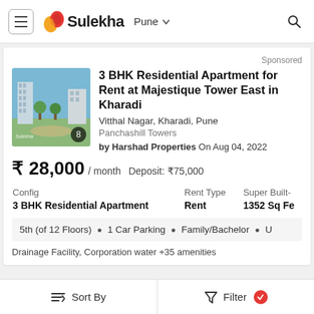≡ Sulekha  Pune  🔍
Sponsored
3 BHK Residential Apartment for Rent at Majestique Tower East in Kharadi
Vitthal Nagar, Kharadi, Pune
Panchashill Towers
by Harshad Properties On Aug 04, 2022
₹ 28,000 / month   Deposit: ₹75,000
| Config | Rent Type | Super Built-up |
| --- | --- | --- |
| 3 BHK Residential Apartment | Rent | 1352 Sq Fe |
5th (of 12 Floors)  •  1 Car Parking  •  Family/Bachelor  •  U
Drainage Facility, Corporation water +35 amenities
Sort By    Filter